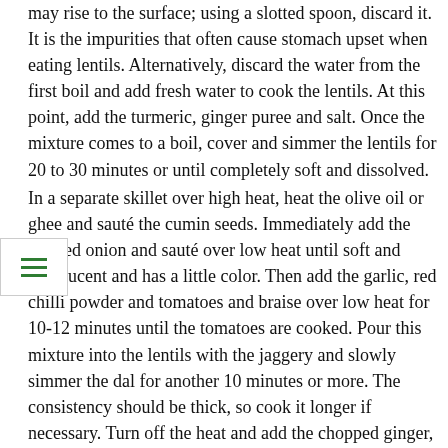may rise to the surface; using a slotted spoon, discard it. It is the impurities that often cause stomach upset when eating lentils. Alternatively, discard the water from the first boil and add fresh water to cook the lentils. At this point, add the turmeric, ginger puree and salt. Once the mixture comes to a boil, cover and simmer the lentils for 20 to 30 minutes or until completely soft and dissolved.
In a separate skillet over high heat, heat the olive oil or ghee and sauté the cumin seeds. Immediately add the minced onion and sauté over low heat until soft and translucent and has a little color. Then add the garlic, red chilli powder and tomatoes and braise over low heat for 10-12 minutes until the tomatoes are cooked. Pour this mixture into the lentils with the jaggery and slowly simmer the dal for another 10 minutes or more. The consistency should be thick, so cook it longer if necessary. Turn off the heat and add the chopped ginger, reserving a little for decoration. Let the dal sit for 10-15 minutes. Stir in the juice of one lemon and drizzle with olive oil or ghee if desired. Finish with chopped ginger, herbs and serve.